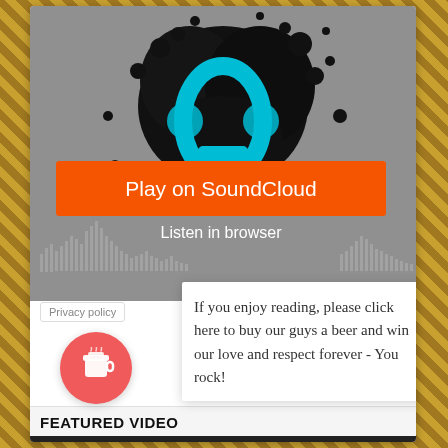[Figure (screenshot): SoundCloud embed player showing a dark splatter-art artwork with orange 'Play on SoundCloud' button and 'Listen in browser' text, waveform at bottom]
Play on SoundCloud
Listen in browser
Privacy policy
If you enjoy reading, please click here to buy our guys a beer and win our love and respect forever - You rock!
FEATURED VIDEO